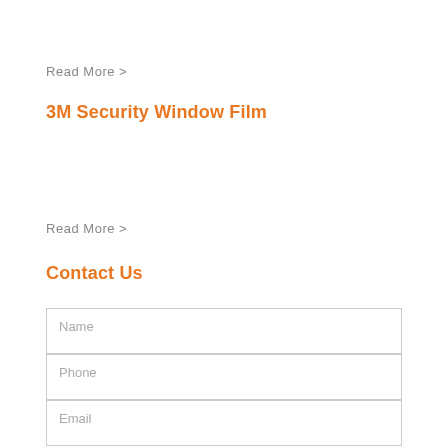Read More >
3M Security Window Film
Read More >
Contact Us
Name
Phone
Email